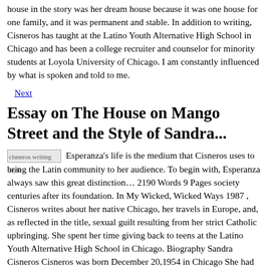house in the story was her dream house because it was one house for one family, and it was permanent and stable. In addition to writing, Cisneros has taught at the Latino Youth Alternative High School in Chicago and has been a college recruiter and counselor for minority students at Loyola University of Chicago. I am constantly influenced by what is spoken and told to me.
Next
Essay on The House on Mango Street and the Style of Sandra...
Esperanza's life is the medium that Cisneros uses to bring the Latin community to her audience. To begin with, Esperanza always saw this great distinction… 2190 Words 9 Pages society centuries after its foundation. In My Wicked, Wicked Ways 1987 , Cisneros writes about her native Chicago, her travels in Europe, and, as reflected in the title, sexual guilt resulting from her strict Catholic upbringing. She spent her time giving back to teens at the Latino Youth Alternative High School in Chicago. Biography Sandra Cisneros Cisneros was born December 20,1954 in Chicago She had six brothers and the only daughter Cisneros is Mexican-American Her parents are from Mexico Cisneros started writing in high school. Slowly, we start to